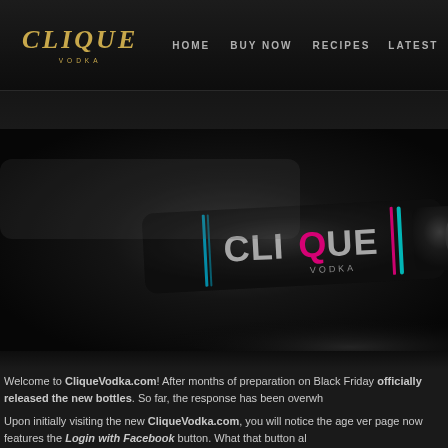CLIQUE VODKA — HOME | BUY NOW | RECIPES | LATEST
[Figure (photo): Dark studio photo of Clique Vodka bottle lying on its side against a black background. The black bottle has 'CLIQUE VODKA' branding with pink and teal accent colors.]
Welcome to CliqueVodka.com! After months of preparation on Black Fri... officially released the new bottles. So far, the response has been overwh...
Upon initially visiting the new CliqueVodka.com, you will notice the age v... page now features the Login with Facebook button. What that button al...